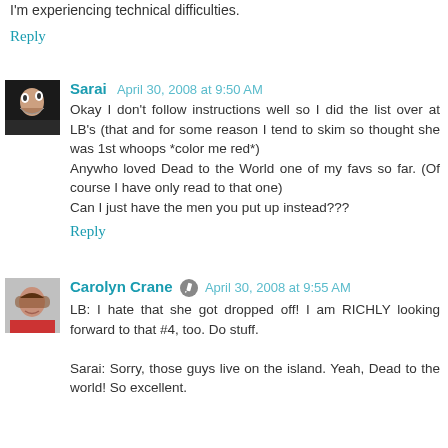I'm experiencing technical difficulties.
Reply
Sarai  April 30, 2008 at 9:50 AM
Okay I don't follow instructions well so I did the list over at LB's (that and for some reason I tend to skim so thought she was 1st whoops *color me red*)
Anywho loved Dead to the World one of my favs so far. (Of course I have only read to that one)
Can I just have the men you put up instead???
Reply
Carolyn Crane  April 30, 2008 at 9:55 AM
LB: I hate that she got dropped off! I am RICHLY looking forward to that #4, too. Do stuff.

Sarai: Sorry, those guys live on the island. Yeah, Dead to the world! So excellent.